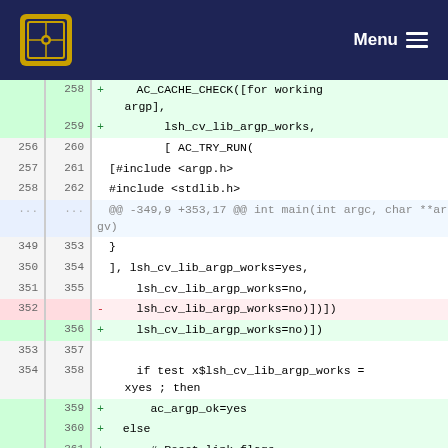Menu
[Figure (screenshot): Git diff view showing code changes in a shell/autoconf script. Lines 256-362 shown with line numbers, additions in green and deletions in red.]